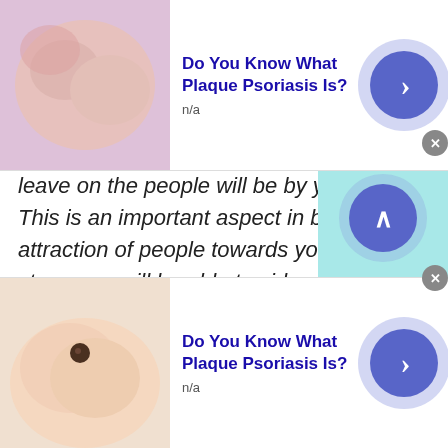[Figure (screenshot): Top advertisement banner: image of skin condition on left, bold blue title 'Do You Know What Plaque Psoriasis Is?', subtext 'n/a', arrow button on right]
leave on the people will be by your words. This is an important aspect in building an attraction of people towards you. After this stage you will be able to video chat with the random people of United States Minor Outlying Islands.
However, before reaching the level of audio and video calls you first try to make an impact that will urge people to talk to you. These things can be attained by following mere things. For instance, share memes through multimedia options of
[Figure (screenshot): Bottom advertisement banner: image of hand with mole/skin condition on left, bold blue title 'Do You Know What Plaque Psoriasis Is?', subtext 'n/a', arrow button on right]